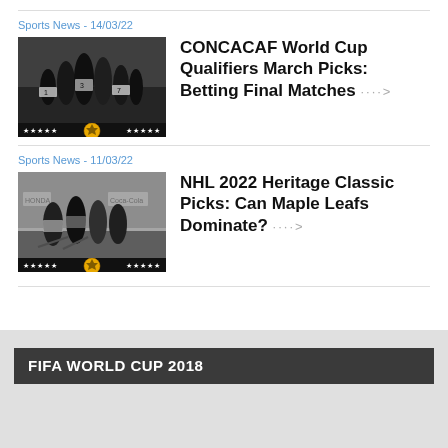Sports News - 14/03/22
[Figure (photo): Black and white photo of soccer players grouped together on a field, with a star-rating bar at the bottom showing 5 stars on left, a ball icon in center, and 5 stars on right]
CONCACAF World Cup Qualifiers March Picks: Betting Final Matches ····
Sports News - 11/03/22
[Figure (photo): Black and white photo of NHL hockey players on ice during a game, with a star-rating bar at the bottom showing 5 stars on left, a ball icon in center, and 5 stars on right]
NHL 2022 Heritage Classic Picks: Can Maple Leafs Dominate? ····
FIFA WORLD CUP 2018